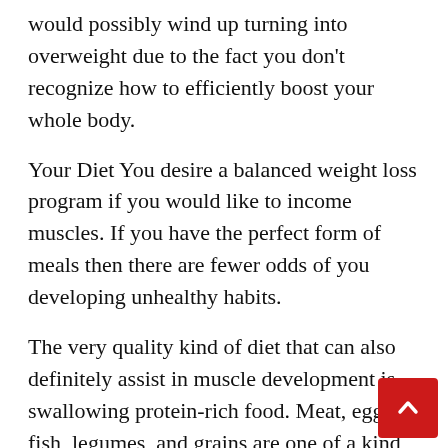would possibly wind up turning into overweight due to the fact you don't recognize how to efficiently boost your whole body.
Your Diet You desire a balanced weight loss program if you would like to income muscles. If you have the perfect form of meals then there are fewer odds of you developing unhealthy habits.
The very quality kind of diet that can also definitely assist in muscle development is swallowing protein-rich food. Meat, eggs, fish, legumes, and grains are one of a kind types of protein-rich meals that may additionally aid you in growing true consuming habits.
If this is the case, do not despair. I will